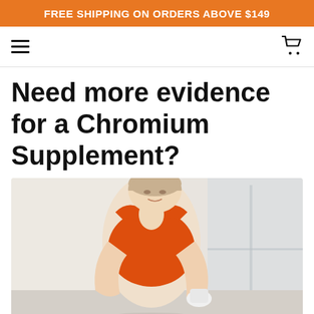FREE SHIPPING ON ORDERS ABOVE $149
Need more evidence for a Chromium Supplement?
[Figure (photo): A woman wearing an orange sports bra, leaning forward in a gym or bright indoor setting, appearing to check her fitness tracker or wrist.]